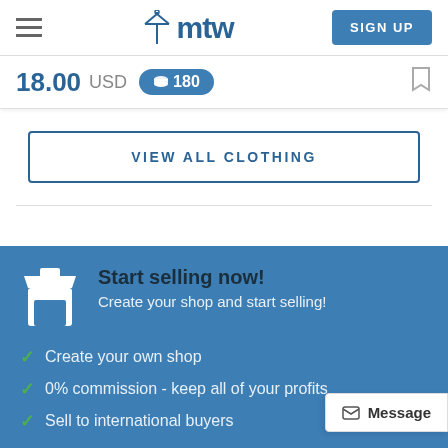mtw — SIGN UP
18.00 USD  180
VIEW ALL CLOTHING
Start selling now!
Create your shop and start selling!
Create your own shop
0% commission - keep all of your profits
Sell to international buyers
Message